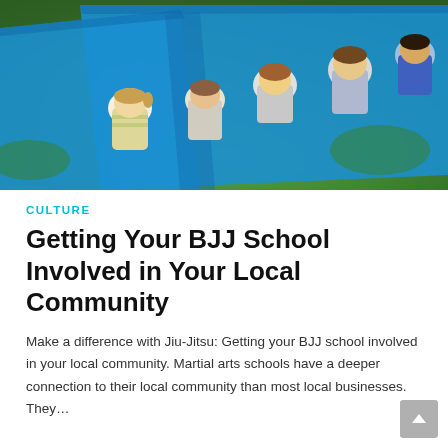[Figure (photo): Children sitting on blue jiu-jitsu mats outdoors on green grass, viewed from behind, in a martial arts class setting.]
CULTURE
Getting Your BJJ School Involved in Your Local Community
Make a difference with Jiu-Jitsu: Getting your BJJ school involved in your local community. Martial arts schools have a deeper connection to their local community than most local businesses. They…